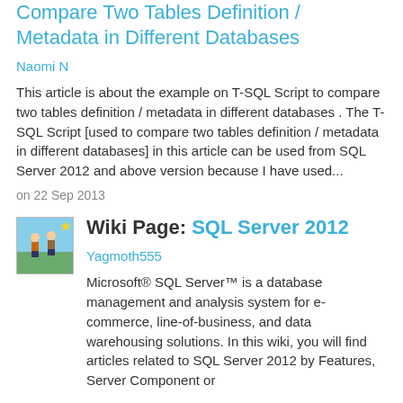Compare Two Tables Definition / Metadata in Different Databases
Naomi N
This article is about the example on T-SQL Script to compare two tables definition / metadata in different databases . The T-SQL Script [used to compare two tables definition / metadata in different databases] in this article can be used from SQL Server 2012 and above version because I have used...
on 22 Sep 2013
Wiki Page: SQL Server 2012
Yagmoth555
Microsoft® SQL Server™ is a database management and analysis system for e-commerce, line-of-business, and data warehousing solutions. In this wiki, you will find articles related to SQL Server 2012 by Features, Server Component or